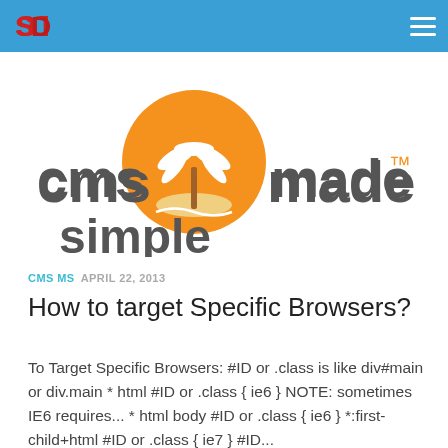SD | CMS Made Simple navigation header
[Figure (logo): CMS Made Simple logo: orange circle with white palm tree island, gray bold text 'cms made simple' with orange TM trademark symbol]
CMS MS  APRIL 22, 2013
How to target Specific Browsers?
To Target Specific Browsers: #ID or .class is like div#main or div.main * html #ID or .class { ie6 } NOTE: sometimes IE6 requires... * html body #ID or .class { ie6 } *:first-child+html #ID or .class { ie7 } #ID...